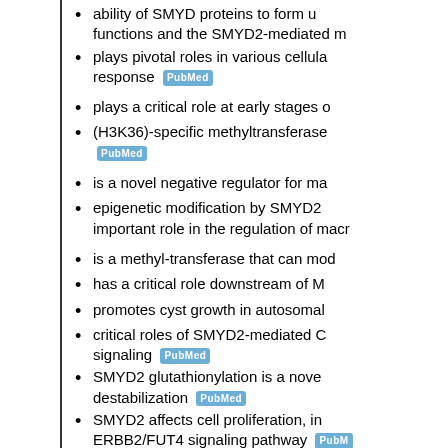ability of SMYD proteins to form u functions and the SMYD2-mediated m
plays pivotal roles in various cellula response [PubMed]
plays a critical role at early stages o
(H3K36)-specific methyltransferase [PubMed]
is a novel negative regulator for ma
epigenetic modification by SMYD2 important role in the regulation of macr
is a methyl-transferase that can mod
has a critical role downstream of M
promotes cyst growth in autosomal
critical roles of SMYD2-mediated C signaling [PubMed]
SMYD2 glutathionylation is a nove destabilization [PubMed]
SMYD2 affects cell proliferation, in ERBB2/FUT4 signaling pathway [PubMed]